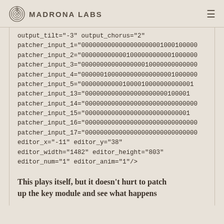Madrona Labs
output_tilt="-3" output_chorus="2"
patcher_input_1="000000000000000000000100010000..."
patcher_input_2="000000000000100000000000100000..."
patcher_input_3="000000000000000001000000000000..."
patcher_input_4="000000010000000000000000100000..."
patcher_input_5="00000000000100001000000000001..."
patcher_input_13="00000000000000000000001000010..."
patcher_input_14="00000000000000000000000000000..."
patcher_input_15="00000000000000000000000000010..."
patcher_input_16="00000000000000000000000000000..."
patcher_input_17="00000000000000000000000000000..."
editor_x="-11" editor_y="38"
editor_width="1482" editor_height="803"
editor_num="1" editor_anim="1"/>
This plays itself, but it doesn't hurt to patch up the key module and see what happens